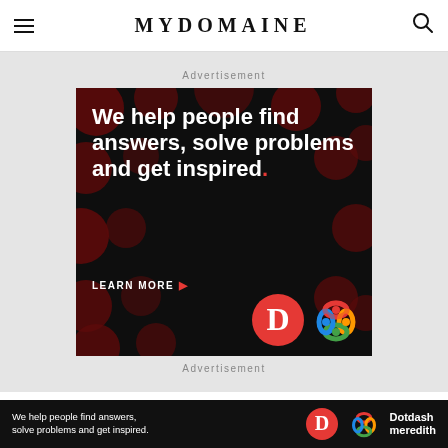MYDOMAINE
Advertisement
[Figure (infographic): Dotdash Meredith advertisement banner on black background with dark red polka dots. White bold text reads: We help people find answers, solve problems and get inspired. LEARN MORE with red arrow. Dotdash D logo (red circle with white D) and Dotdash Meredith multicolor knot logo on right.]
Advertisement
Ad
[Figure (infographic): Sticky bottom banner: black background, white text 'We help people find answers, solve problems and get inspired.' with Dotdash D logo and Dotdash Meredith logo and wordmark.]